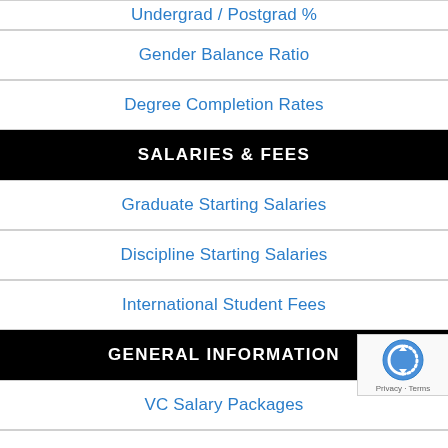Undergrad / Postgrad %
Gender Balance Ratio
Degree Completion Rates
SALARIES & FEES
Graduate Starting Salaries
Discipline Starting Salaries
International Student Fees
GENERAL INFORMATION
VC Salary Packages
Uni Revenue & Surpluses
History of Universities
DISCIPLINE RANKINGS BY SIZE
Agricultural Science Schools